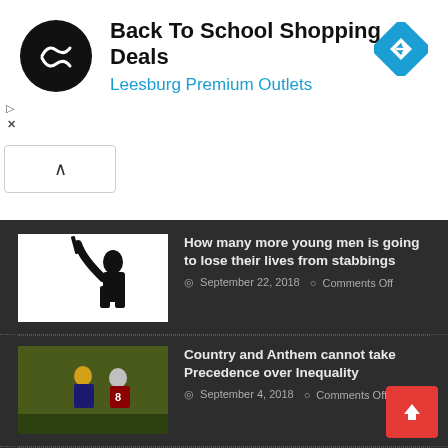[Figure (screenshot): Advertisement banner: Back To School Shopping Deals at Leesburg Premium Outlets with logo and navigation icon]
Back To School Shopping Deals
Leesburg Premium Outlets
How many more young men is going to lose their lives from stabbings
September 22, 2018  Comments Off
Country and Anthem cannot take Precedence over Inequality
September 4, 2018  Comments Off
The World Is Covered by Darkness We Need to Understand Why